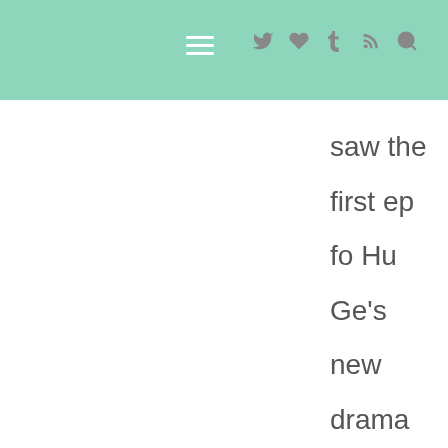Navigation bar with hamburger menu and social icons
saw the first ep fo Hu Ge's new drama and thought the adult storyline is probably watchabl but I'll get bored at all the